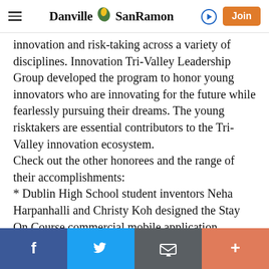Danville SanRamon — navigation header with hamburger menu, logo, login arrow, and Join button
innovation and risk-taking across a variety of disciplines. Innovation Tri-Valley Leadership Group developed the program to honor young innovators who are innovating for the future while fearlessly pursuing their dreams. The young risktakers are essential contributors to the Tri-Valley innovation ecosystem.
Check out the other honorees and the range of their accomplishments:
* Dublin High School student inventors Neha Harpanhalli and Christy Koh designed the Stay On Course commercial mobile application specifically for high school students to help them measure their progress toward fulfilling the requirements needed to graduate
Social share bar: Facebook, Twitter, Email, More